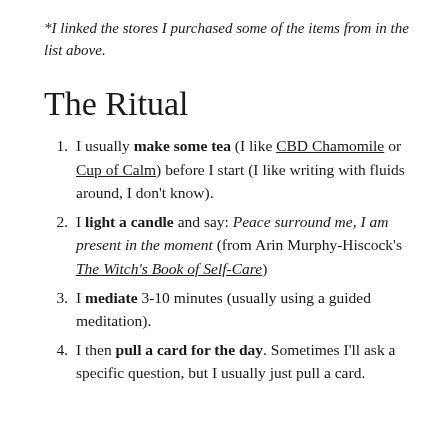*I linked the stores I purchased some of the items from in the list above.
The Ritual
I usually make some tea (I like CBD Chamomile or Cup of Calm) before I start (I like writing with fluids around, I don't know).
I light a candle and say: Peace surround me, I am present in the moment (from Arin Murphy-Hiscock's The Witch's Book of Self-Care)
I mediate 3-10 minutes (usually using a guided meditation).
I then pull a card for the day. Sometimes I'll ask a specific question, but I usually just pull a card.